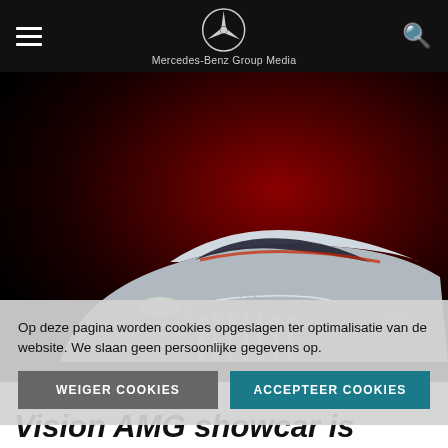Mercedes-Benz Group Media
[Figure (photo): Concept car render of a sleek silver Mercedes-AMG Vision vehicle photographed from front-left angle, glowing grille and headlights visible, dramatic red-lit dark background]
Op deze pagina worden cookies opgeslagen ter optimalisatie van de website. We slaan geen persoonlijke gegevens op.
WEIGER COOKIES   ACCEPTEER COOKIES
Vision AMG showcar is